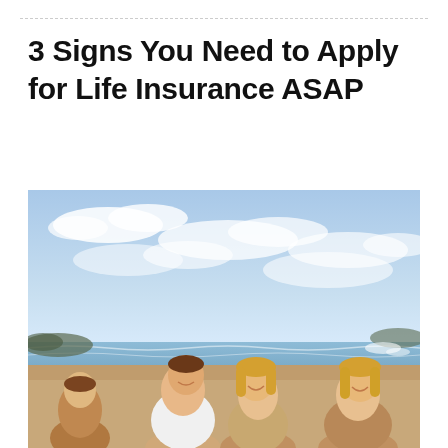3 Signs You Need to Apply for Life Insurance ASAP
[Figure (photo): A happy family of four (man, woman, and two children) laughing and smiling at a sunny beach with blue sky and clouds in the background.]